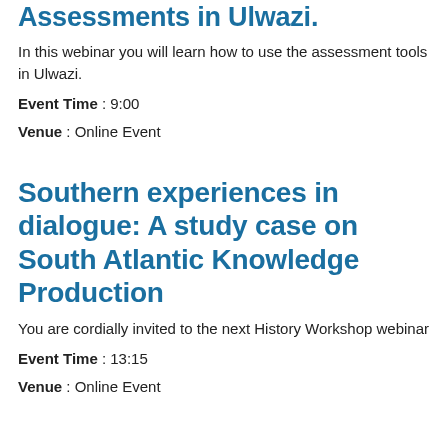Assessments in Ulwazi (partial, top cut off)
In this webinar you will learn how to use the assessment tools in Ulwazi.
Event Time : 9:00
Venue : Online Event
Southern experiences in dialogue: A study case on South Atlantic Knowledge Production
You are cordially invited to the next History Workshop webinar
Event Time : 13:15
Venue : Online Event